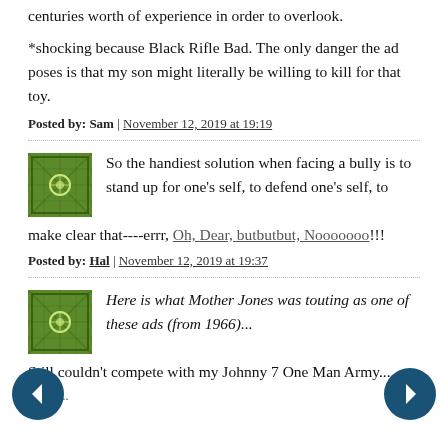centuries worth of experience in order to overlook.
*shocking because Black Rifle Bad. The only danger the ad poses is that my son might literally be willing to kill for that toy.
Posted by: Sam | November 12, 2019 at 19:19
So the handiest solution when facing a bully is to stand up for one's self, to defend one's self, to make clear that----errr, Oh, Dear, butbutbut, Nooooooo!!!
Posted by: Hal | November 12, 2019 at 19:37
Here is what Mother Jones was touting as one of these ads (from 1966)...
Still couldn't compete with my Johnny 7 One Man Army...
http://...